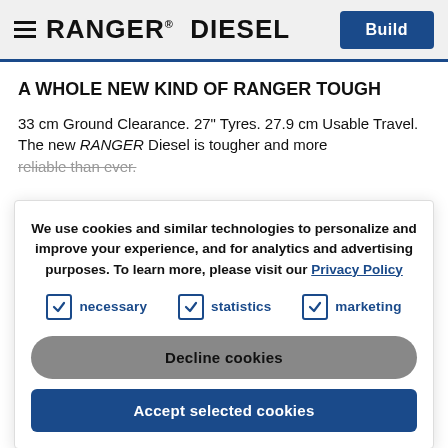≡ RANGER® DIESEL  |  Build
A WHOLE NEW KIND OF RANGER TOUGH
33 cm Ground Clearance. 27" Tyres. 27.9 cm Usable Travel.
The new RANGER Diesel is tougher and more reliable than ever.
We use cookies and similar technologies to personalize and improve your experience, and for analytics and advertising purposes. To learn more, please visit our Privacy Policy
necessary  |  statistics  |  marketing
Decline cookies
Accept selected cookies